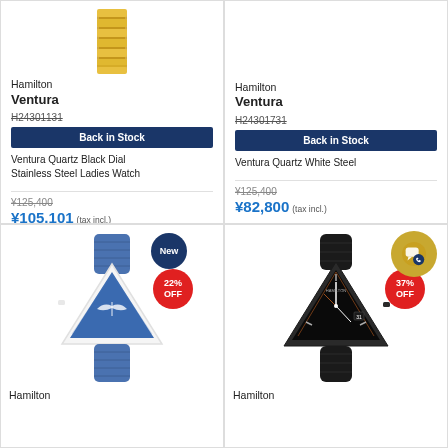[Figure (photo): Hamilton Ventura watch with gold bracelet, partial top view]
Hamilton
Ventura
H24301131
Back in Stock
Ventura Quartz Black Dial Stainless Steel Ladies Watch
¥125,400
¥105,101 (tax incl.)
[Figure (photo): Hamilton Ventura watch, right column top]
Hamilton
Ventura
H24301731
Back in Stock
Ventura Quartz White Steel
¥125,400
¥82,800 (tax incl.)
[Figure (photo): Hamilton Ventura watch with blue denim strap, white case, blue dial with wing logo, 22% OFF badge, New badge]
Hamilton
[Figure (photo): Hamilton Ventura watch with black rubber strap, black case, dark dial, 37% OFF badge, chat/phone badge]
Hamilton